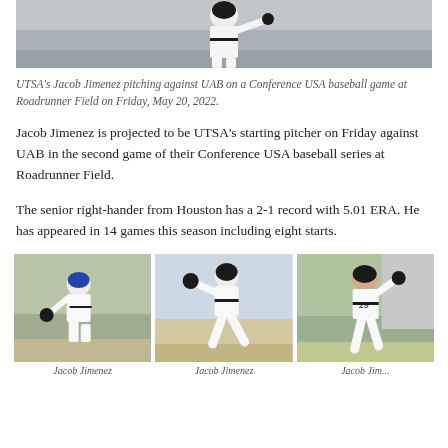[Figure (photo): Top cropped photo of Jacob Jimenez pitching, wearing white uniform, mid-throw motion against light stadium background]
UTSA's Jacob Jimenez pitching against UAB on a Conference USA baseball game at Roadrunner Field on Friday, May 20, 2022.
Jacob Jimenez is projected to be UTSA's starting pitcher on Friday against UAB in the second game of their Conference USA baseball series at Roadrunner Field.
The senior right-hander from Houston has a 2-1 record with 5.01 ERA. He has appeared in 14 games this season including eight starts.
[Figure (photo): Three side-by-side photos of Jacob Jimenez in pitching poses on the baseball field, wearing white pinstripe UTSA uniform]
Jacob Jimenez    Jacob Jimenez    Jacob Jim...